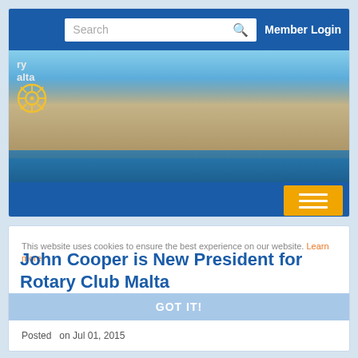[Figure (screenshot): Website header with blue navigation bar containing a search box and Member Login link, a panoramic photo banner of Valletta Malta harbor with Rotary Club logo, and a blue menu bar with orange hamburger menu button]
This website uses cookies to ensure the best experience on our website. Learn more
John Cooper is New President for Rotary Club Malta
GOT IT!
Posted   on Jul 01, 2015